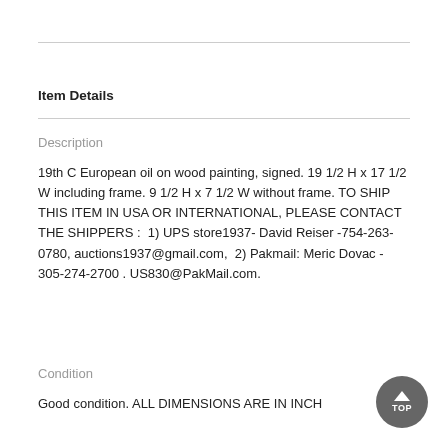Item Details
Description
19th C European oil on wood painting, signed. 19 1/2 H x 17 1/2 W including frame. 9 1/2 H x 7 1/2 W without frame. TO SHIP THIS ITEM IN USA OR INTERNATIONAL, PLEASE CONTACT THE SHIPPERS :  1) UPS store1937- David Reiser -754-263-0780, auctions1937@gmail.com,  2) Pakmail: Meric Dovac - 305-274-2700 . US830@PakMail.com.
Condition
Good condition. ALL DIMENSIONS ARE IN INCH